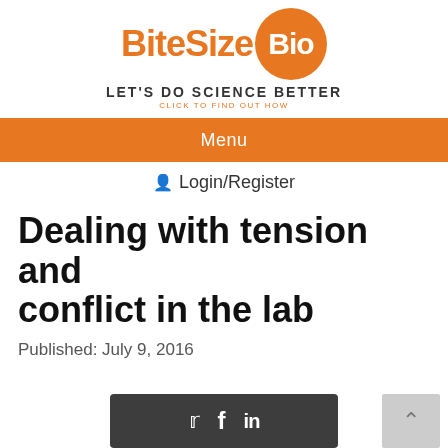[Figure (logo): BiteSizeBio logo with orange circle containing 'Bio' and orange text 'BiteSize']
LET'S DO SCIENCE BETTER
CLICK TO FIND OUT HOW
Menu
Login/Register
Dealing with tension and conflict in the lab
Published: July 9, 2016
[Figure (other): Social share buttons for Twitter, Facebook, LinkedIn on dark background]
[Figure (other): Scroll to top button with upward chevron]